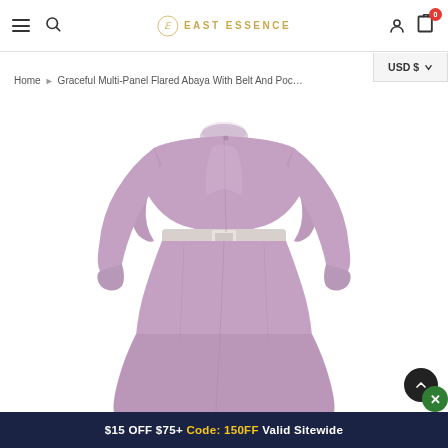East Essence — Navigation bar with hamburger, search, logo, user account, cart (0)
USD $
Home › Graceful Multi-Panel Flared Abaya With Belt And Poc…
[Figure (photo): A mauve/lavender multi-panel flared abaya dress with long sleeves, a cape-style overlay on the upper body, and a white belt at the waist. The garment is shown on a headless mannequin on a white background.]
$15 OFF $75+ Code: 150FF Valid Sitewide